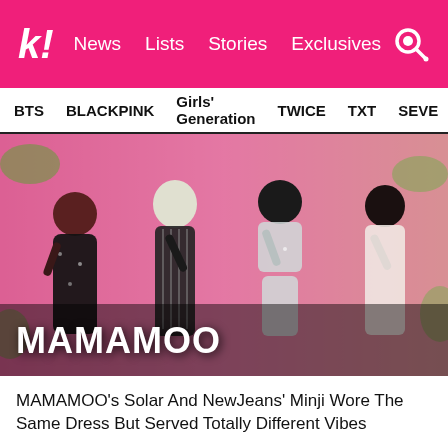koreaboo — News  Lists  Stories  Exclusives
BTS  BLACKPINK  Girls' Generation  TWICE  TXT  SEVE
[Figure (photo): Four members of MAMAMOO performing on stage in various outfits — sequined black dress, black striped outfit, silver sparkly two-piece, and white lace outfit — with pink and green stage backdrop. Large 'MAMAMOO' text overlay at bottom left.]
MAMAMOO's Solar And NewJeans' Minji Wore The Same Dress But Served Totally Different Vibes
MAMAMOO Solar Left Fans Shook With Her